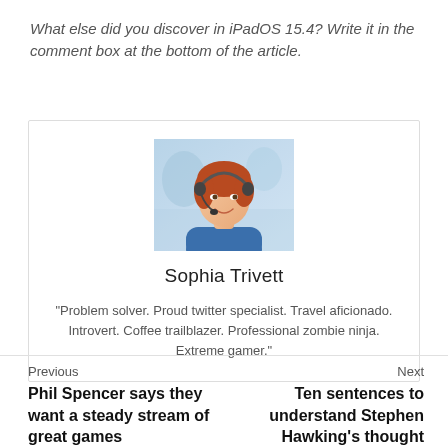What else did you discover in iPadOS 15.4? Write it in the comment box at the bottom of the article.
[Figure (photo): Photo of Sophia Trivett, a smiling woman with red hair wearing a headset and blue top, against a blurred background.]
Sophia Trivett
"Problem solver. Proud twitter specialist. Travel aficionado. Introvert. Coffee trailblazer. Professional zombie ninja. Extreme gamer."
Previous
Phil Spencer says they want a steady stream of great games
Next
Ten sentences to understand Stephen Hawking's thought